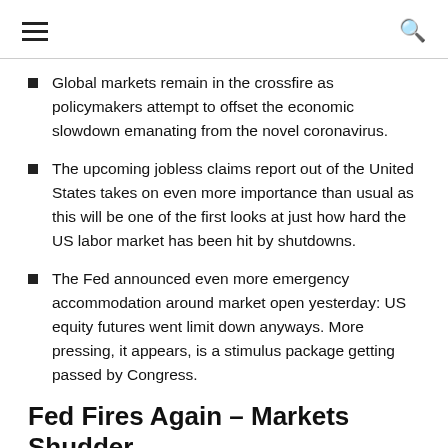[hamburger menu] [search icon]
Global markets remain in the crossfire as policymakers attempt to offset the economic slowdown emanating from the novel coronavirus.
The upcoming jobless claims report out of the United States takes on even more importance than usual as this will be one of the first looks at just how hard the US labor market has been hit by shutdowns.
The Fed announced even more emergency accommodation around market open yesterday: US equity futures went limit down anyways. More pressing, it appears, is a stimulus package getting passed by Congress.
Fed Fires Again – Markets Shudder